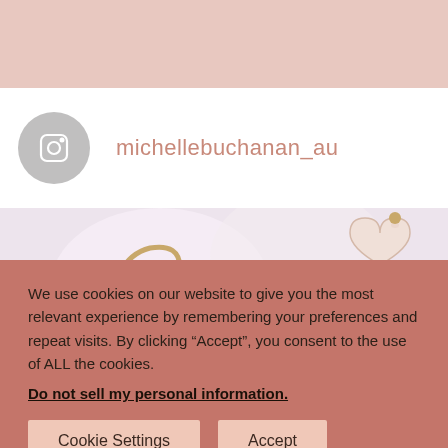[Figure (photo): Top pink/blush colored banner background]
michellebuchanan_au
[Figure (photo): Close-up photo of beauty accessories including a gold face roller and pearl heart-shaped items on a light pink/white background]
We use cookies on our website to give you the most relevant experience by remembering your preferences and repeat visits. By clicking “Accept”, you consent to the use of ALL the cookies.
Do not sell my personal information.
Cookie Settings
Accept